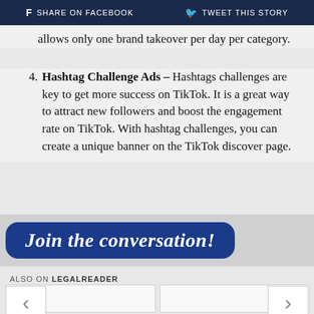f SHARE ON FACEBOOK   🐦 TWEET THIS STORY
allows only one brand takeover per day per category.
4. Hashtag Challenge Ads – Hashtags challenges are key to get more success on TikTok. It is a great way to attract new followers and boost the engagement rate on TikTok. With hashtag challenges, you can create a unique banner on the TikTok discover page.
Join the conversation!
ALSO ON LEGALREADER
[Figure (other): Two content card placeholders with previous/next navigation arrows]